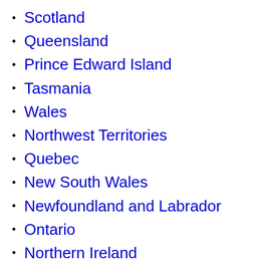Scotland
Queensland
Prince Edward Island
Tasmania
Wales
Northwest Territories
Quebec
New South Wales
Newfoundland and Labrador
Ontario
Northern Ireland